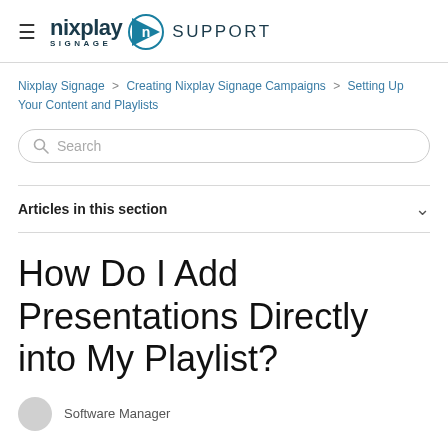nixplay SIGNAGE [logo] SUPPORT
Nixplay Signage > Creating Nixplay Signage Campaigns > Setting Up Your Content and Playlists
Search
Articles in this section
How Do I Add Presentations Directly into My Playlist?
Software Manager